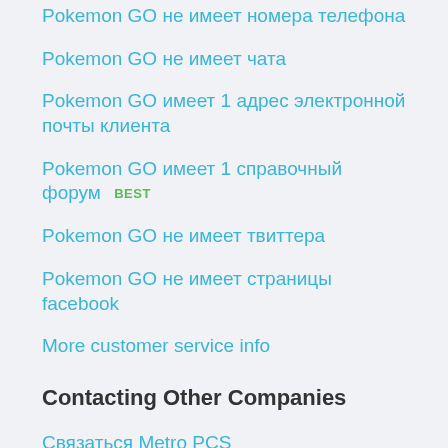Pokemon GO не имеет номера телефона
Pokemon GO не имеет чата
Pokemon GO имеет 1 адрес электронной почты клиента
Pokemon GO имеет 1 справочный форум  BEST
Pokemon GO не имеет твиттера
Pokemon GO не имеет страницы facebook
More customer service info
Contacting Other Companies
Связаться Metro PCS
Связаться Straight Talk
Связаться Domino's Pizza
Связаться Social Security